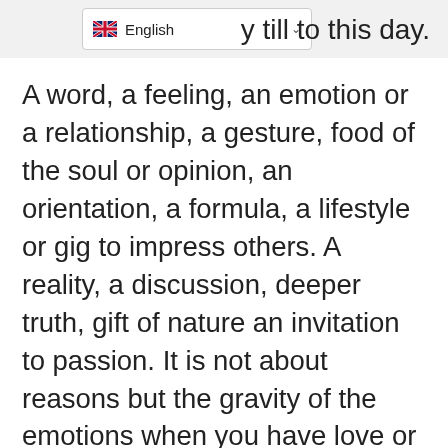y till to this day.
A word, a feeling, an emotion or a relationship, a gesture, food of the soul or opinion, an orientation, a formula, a lifestyle or gig to impress others. A reality, a discussion, deeper truth, gift of nature an invitation to passion. It is not about reasons but the gravity of the emotions when you have love or you in love, you do love or whatever the possible term is but one thing I know for sure is that Love is the most powerful feeling on earth and there has not been any other emotion of